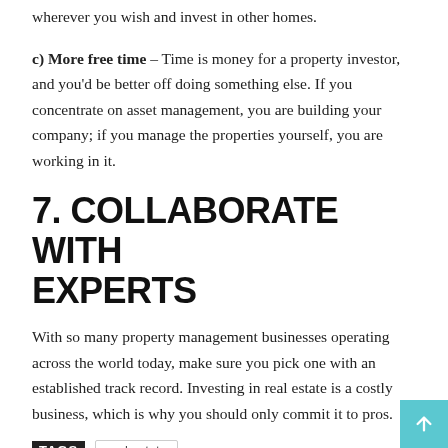wherever you wish and invest in other homes.
c) More free time – Time is money for a property investor, and you'd be better off doing something else. If you concentrate on asset management, you are building your company; if you manage the properties yourself, you are working in it.
7. COLLABORATE WITH EXPERTS
With so many property management businesses operating across the world today, make sure you pick one with an established track record. Investing in real estate is a costly business, which is why you should only commit it to pros.
TAGS   real estate